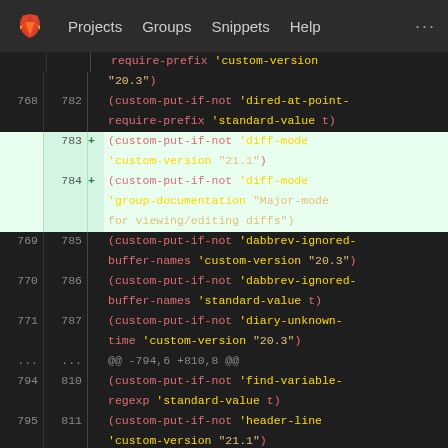GitLab navigation: Projects, Groups, Snippets, Help
[Figure (screenshot): Git diff view showing code changes in a Lisp/Emacs configuration file. Lines 768-812 are shown with line numbers on left and right sides. Added lines 783 and 784 are highlighted in green, showing custom-put-if-not calls for diff-mode custom-version and group-documentation.]